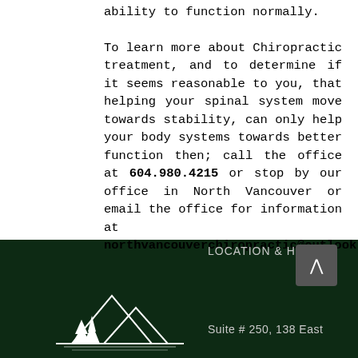ability to function normally.

To learn more about Chiropractic treatment, and to determine if it seems reasonable to you, that helping your spinal system move towards stability, can only help your body systems towards better function then; call the office at 604.980.4215 or stop by our office in North Vancouver or email the office for information at northvancouverchiropractic@outlook.com
[Figure (logo): White mountain and pine tree silhouette logo on dark green background]
LOCATION & HOURS
Suite # 250, 138 East